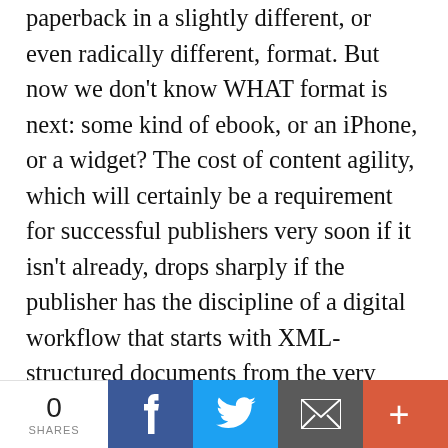paperback in a slightly different, or even radically different, format. But now we don't know WHAT format is next: some kind of ebook, or an iPhone, or a widget? The cost of content agility, which will certainly be a requirement for successful publishers very soon if it isn't already, drops sharply if the publisher has the discipline of a digital workflow that starts with XML-structured documents from the very begining. And that kind of workflow also enables the author's and editor's inputs, such as those we mentioned earlier, and the attendant rights information,
0 SHARES | f | t | email | +